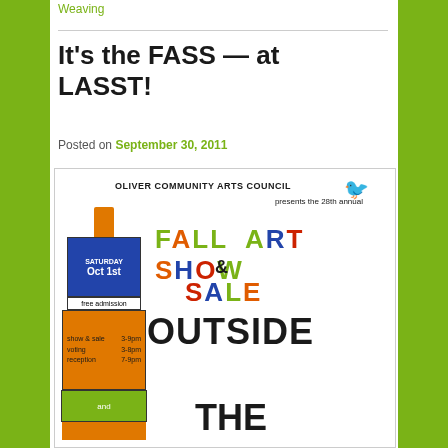Weaving
It's the FASS — at LASST!
Posted on September 30, 2011
[Figure (illustration): Event poster for Oliver Community Arts Council 28th annual Fall Art Show & Sale, Saturday Oct 1st, free admission, show & sale 3-9pm, voting 3-8pm, reception 7-9pm, Outside The...]